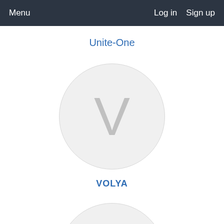Menu   Log in   Sign up
Unite-One
[Figure (illustration): A large circular avatar placeholder with a light gray background and a large gray letter V in the center]
VOLYA
[Figure (illustration): Top portion of a second circular avatar placeholder, partially visible at the bottom of the page]